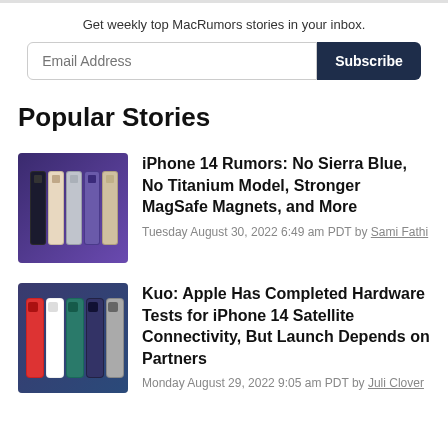Get weekly top MacRumors stories in your inbox.
Popular Stories
iPhone 14 Rumors: No Sierra Blue, No Titanium Model, Stronger MagSafe Magnets, and More
Tuesday August 30, 2022 6:49 am PDT by Sami Fathi
Kuo: Apple Has Completed Hardware Tests for iPhone 14 Satellite Connectivity, But Launch Depends on Partners
Monday August 29, 2022 9:05 am PDT by Juli Clover